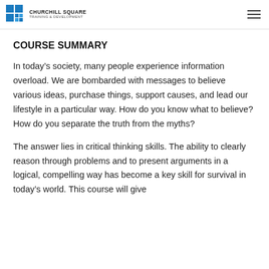Churchill Square Training & Development
COURSE SUMMARY
In today’s society, many people experience information overload. We are bombarded with messages to believe various ideas, purchase things, support causes, and lead our lifestyle in a particular way. How do you know what to believe? How do you separate the truth from the myths?
The answer lies in critical thinking skills. The ability to clearly reason through problems and to present arguments in a logical, compelling way has become a key skill for survival in today’s world. This course will give